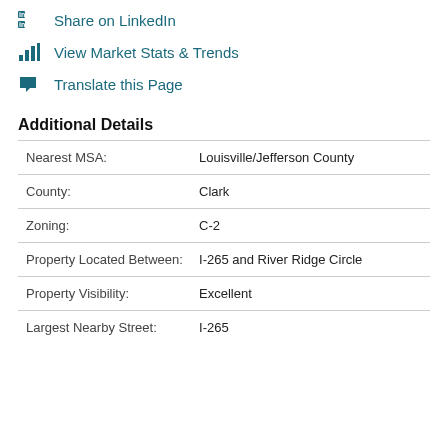Share on LinkedIn
View Market Stats & Trends
Translate this Page
Additional Details
|  |  |
| --- | --- |
| Nearest MSA: | Louisville/Jefferson County |
| County: | Clark |
| Zoning: | C-2 |
| Property Located Between: | I-265 and River Ridge Circle |
| Property Visibility: | Excellent |
| Largest Nearby Street: | I-265 |